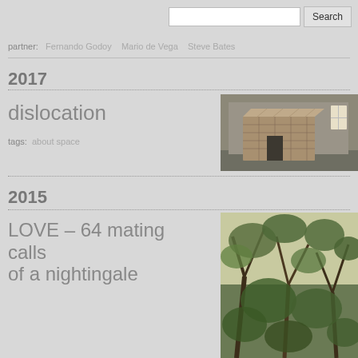Search [input field] [Search button]
partner:  Fernando Godoy   Mario de Vega   Steve Bates
2017
dislocation
tags:  about space
[Figure (photo): Installation photo showing a large cube structure made of stacked printed boxes in an empty room with concrete floor and small window]
2015
LOVE – 64 mating calls of a nightingale
[Figure (photo): Photo of tree branches and foliage seen from below against bright sky]